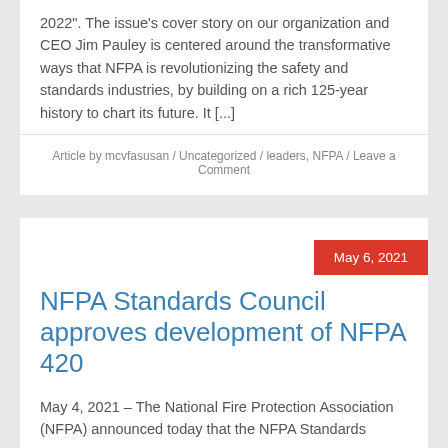2022". The issue's cover story on our organization and CEO Jim Pauley is centered around the transformative ways that NFPA is revolutionizing the safety and standards industries, by building on a rich 125-year history to chart its future. It [...]
Article by mcvfasusan / Uncategorized / leaders, NFPA / Leave a Comment
May 6, 2021
NFPA Standards Council approves development of NFPA 420
May 4, 2021 – The National Fire Protection Association (NFPA) announced today that the NFPA Standards